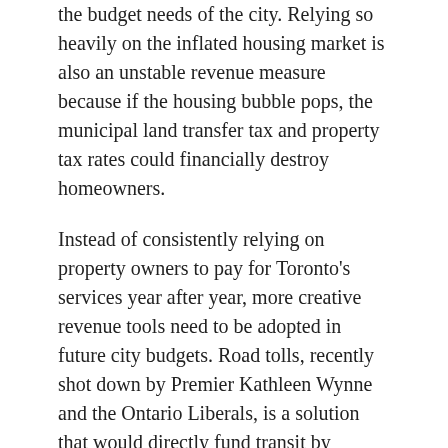the budget needs of the city. Relying so heavily on the inflated housing market is also an unstable revenue measure because if the housing bubble pops, the municipal land transfer tax and property tax rates could financially destroy homeowners.
Instead of consistently relying on property owners to pay for Toronto's services year after year, more creative revenue tools need to be adopted in future city budgets. Road tolls, recently shot down by Premier Kathleen Wynne and the Ontario Liberals, is a solution that would directly fund transit by charging not only the 905 commuters coming into the city for work every day, but all Torontonian downtown drivers a small fee. Using road tolls as a revenue tool would relieve pressure on property tax hikes and raise much needed funds for transit and community housing that desperately need to be built.
The budget fills gaps on some city services, but falls short of adequately shortening the affordable housing waitlist, not to mention many other items on the agenda that desperately need